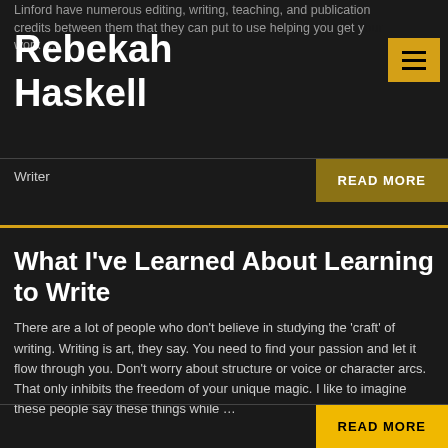Linford have numerous editing, writing, teaching, and publication credits between them that they can put to use helping you get your work …
Rebekah Haskell
Writer
What I've Learned About Learning to Write
There are a lot of people who don't believe in studying the 'craft' of writing. Writing is art, they say. You need to find your passion and let it flow through you. Don't worry about structure or voice or character arcs. That only inhibits the freedom of your unique magic. I like to imagine these people say these things while …